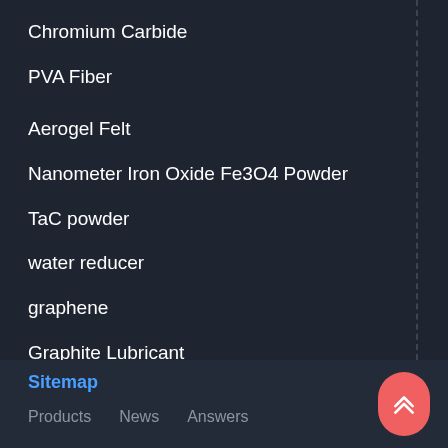Chromium Carbide
PVA Fiber
Aerogel Felt
Nanometer Iron Oxide Fe3O4 Powder
TaC powder
water reducer
graphene
Graphite Lubricant
Nitinol Powder
Sitemap  Products  News  Answers